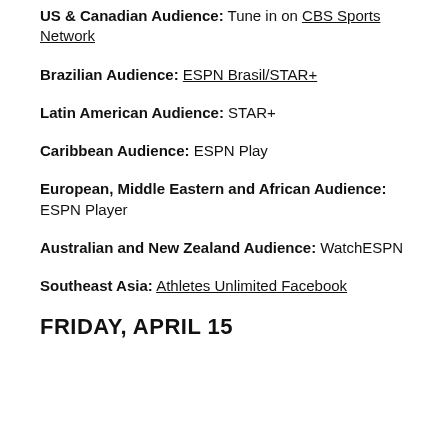US & Canadian Audience: Tune in on CBS Sports Network
Brazilian Audience: ESPN Brasil/STAR+
Latin American Audience: STAR+
Caribbean Audience: ESPN Play
European, Middle Eastern and African Audience: ESPN Player
Australian and New Zealand Audience: WatchESPN
Southeast Asia: Athletes Unlimited Facebook
FRIDAY, APRIL 15